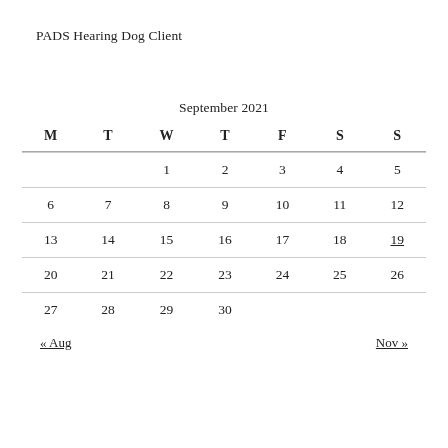PADS Hearing Dog Client
| M | T | W | T | F | S | S |
| --- | --- | --- | --- | --- | --- | --- |
|  |  | 1 | 2 | 3 | 4 | 5 |
| 6 | 7 | 8 | 9 | 10 | 11 | 12 |
| 13 | 14 | 15 | 16 | 17 | 18 | 19 |
| 20 | 21 | 22 | 23 | 24 | 25 | 26 |
| 27 | 28 | 29 | 30 |  |  |  |
« Aug    Nov »